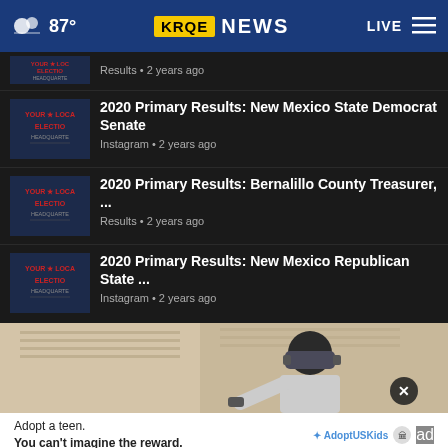87° KRQE NEWS LIVE
Results • 2 years ago
2020 Primary Results: New Mexico State Democrat Senate
Instagram • 2 years ago
2020 Primary Results: Bernalillo County Treasurer, ...
Results • 2 years ago
2020 Primary Results: New Mexico Republican State ...
Instagram • 2 years ago
[Figure (photo): Man wearing VR headset]
Adopt a teen. You can't imagine the reward. AdoptUSKids